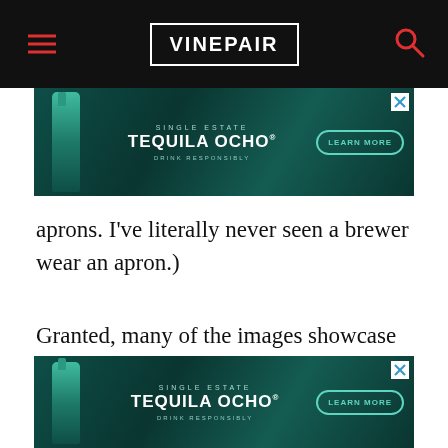[Figure (screenshot): VinePair website navigation bar with hamburger menu icon on left, VinePair logo in center, and search icon on right, on black background]
[Figure (screenshot): Advertisement banner for Single Estate Tequila Ocho with bottle image, teal/dark green background, Learn More button, and Drink Responsibly text]
aprons. I’ve literally never seen a brewer wear an apron.)
Granted, many of the images showcase AB InBev-owned brands. But the effort is valid and couldn’t come at a more appropriate time. According to AB InBev, 25 percent of craft beer drinkers identify as female and 40 percent identify as non-white. Would it kill to show a
[Figure (screenshot): Second advertisement banner for Single Estate Tequila Ocho overlaying bottom portion of article text]